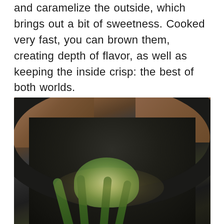and caramelize the outside, which brings out a bit of sweetness. Cooked very fast, you can brown them, creating depth of flavor, as well as keeping the inside crisp: the best of both worlds.
[Figure (photo): Overhead view of artichoke and asparagus cooking in a dark cast iron or non-stick skillet, with oil or butter, placed on a wooden surface]